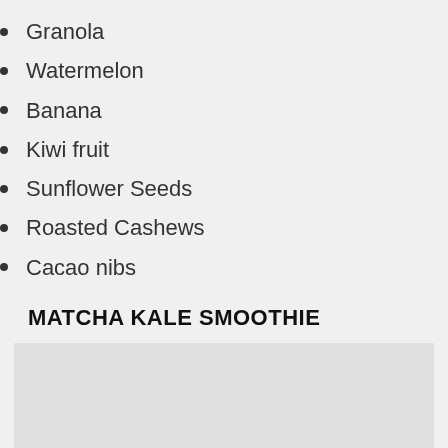Granola
Watermelon
Banana
Kiwi fruit
Sunflower Seeds
Roasted Cashews
Cacao nibs
MATCHA KALE SMOOTHIE
[Figure (photo): A placeholder/blank image area below the Matcha Kale Smoothie section header]